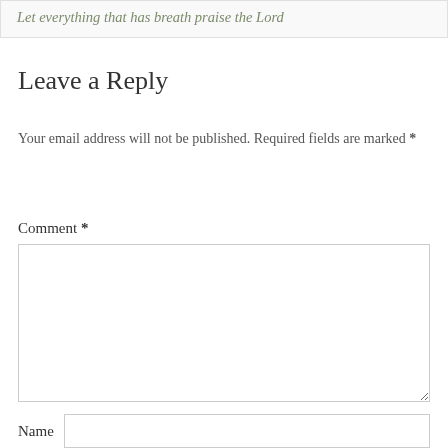Let everything that has breath praise the Lord
Leave a Reply
Your email address will not be published. Required fields are marked *
Comment *
Name